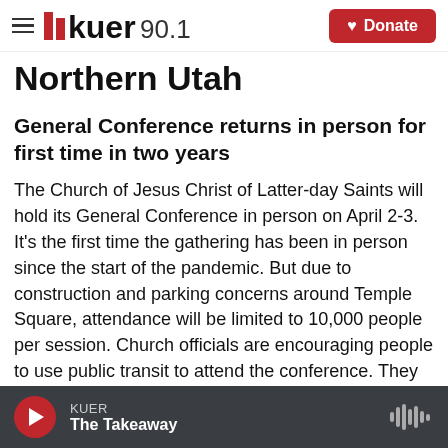KUER 90.1 — Donate
Northern Utah
General Conference returns in person for first time in two years
The Church of Jesus Christ of Latter-day Saints will hold its General Conference in person on April 2-3. It's the first time the gathering has been in person since the start of the pandemic. But due to construction and parking concerns around Temple Square, attendance will be limited to 10,000 people per session. Church officials are encouraging people to use public transit to attend the conference. They are
KUER — The Takeaway